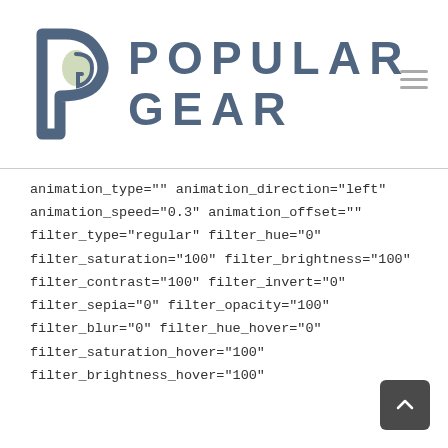[Figure (logo): Popular Gear logo with stylized 'PG' leaf icon in slate blue and light green, and text 'POPULAR GEAR' in bold slate blue letters]
animation_type="" animation_direction="left"
animation_speed="0.3" animation_offset=""
filter_type="regular" filter_hue="0"
filter_saturation="100" filter_brightness="100"
filter_contrast="100" filter_invert="0"
filter_sepia="0" filter_opacity="100"
filter_blur="0" filter_hue_hover="0"
filter_saturation_hover="100"
filter_brightness_hover="100"